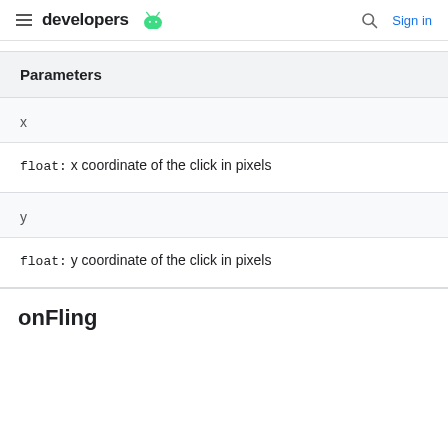developers  Sign in
Parameters
x
float: x coordinate of the click in pixels
y
float: y coordinate of the click in pixels
onFling